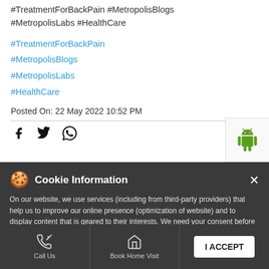#TreatmentForBackPain #MetropolisBlogs #MetropolisLabs #HealthCare
#TreatmentForBackPain
#MetropolisBlogs
#MetropolisLabs
#HealthCare
Posted On: 22 May 2022 10:52 PM
[Figure (other): Social share icons: Facebook, Twitter, WhatsApp]
[Figure (other): Android app icon button on sidebar]
[Figure (other): Apple iOS app icon button on sidebar]
Cookie Information
On our website, we use services (including from third-party providers) that help us to improve our online presence (optimization of website) and to display content that is geared to their interests. We need your consent before being able to use these services.
Categories
[Figure (other): Call Us footer icon]
[Figure (other): Book Home Visit footer icon]
I ACCEPT